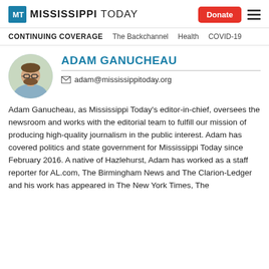MISSISSIPPI TODAY — Donate [button] [menu]
CONTINUING COVERAGE   The Backchannel   Health   COVID-19
[Figure (photo): Circular profile photo of Adam Ganucheau, a man with glasses and a beard, wearing a light blue shirt, with leafy background]
ADAM GANUCHEAU
adam@mississippitoday.org
Adam Ganucheau, as Mississippi Today's editor-in-chief, oversees the newsroom and works with the editorial team to fulfill our mission of producing high-quality journalism in the public interest. Adam has covered politics and state government for Mississippi Today since February 2016. A native of Hazlehurst, Adam has worked as a staff reporter for AL.com, The Birmingham News and The Clarion-Ledger and his work has appeared in The New York Times, The